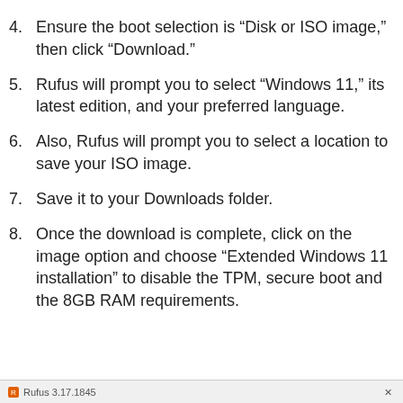4. Ensure the boot selection is “Disk or ISO image,” then click “Download.”
5. Rufus will prompt you to select “Windows 11,” its latest edition, and your preferred language.
6. Also, Rufus will prompt you to select a location to save your ISO image.
7. Save it to your Downloads folder.
8. Once the download is complete, click on the image option and choose “Extended Windows 11 installation” to disable the TPM, secure boot and the 8GB RAM requirements.
Rufus 3.17.1845